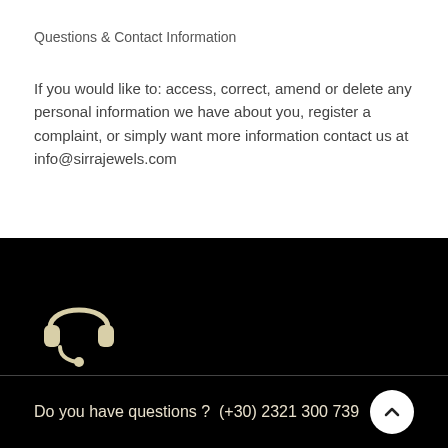Questions & Contact Information
If you would like to: access, correct, amend or delete any personal information we have about you, register a complaint, or simply want more information contact us at info@sirrajewels.com
[Figure (illustration): Customer support headset icon in beige/cream color on black background]
Do you have questions ?  (+30) 2321 300 739